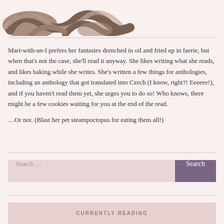[Figure (illustration): Bottom portion of a cartoon steampunk octopus illustration, showing tentacles in brown and tan colors against a light pink background]
Mari-with-an-I prefers her fantasies drenched in oil and fried up in faerie, but when that's not the case, she'll read it anyway. She likes writing what she reads, and likes baking while she writes. She's written a few things for anthologies, including an anthology that got translated into Czech (I know, right?! Eeeeee!), and if you haven't read them yet, she urges you to do so! Who knows, there might be a few cookies waiting for you at the end of the read.

…Or not. (Blast her pet steampoctopus for eating them all!)
Search …
CURRENTLY READING